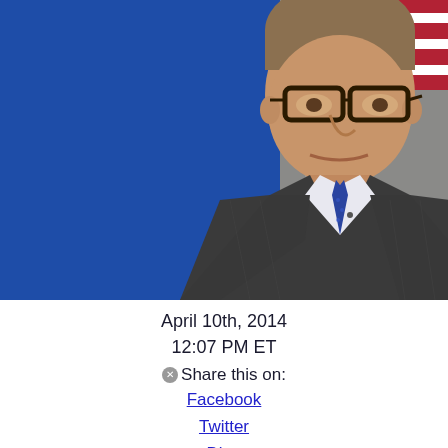[Figure (photo): A man in a dark plaid suit jacket with a blue tie and glasses, speaking in front of a blue background with an American flag visible in the upper right corner.]
April 10th, 2014
12:07 PM ET
Share this on:
Facebook
Twitter
Digg
del.icio.us
reddit
MySpace